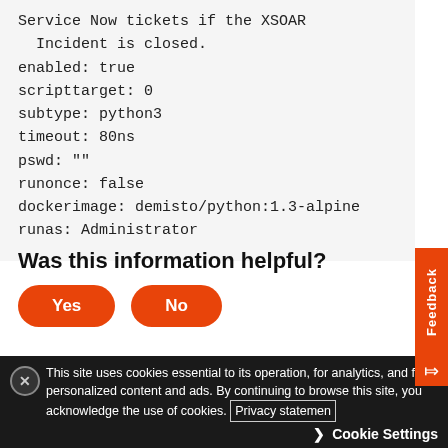Service Now tickets if the XSOAR
  Incident is closed.
enabled: true
scripttarget: 0
subtype: python3
timeout: 80ns
pswd: ""
runonce: false
dockerimage: demisto/python:1.3-alpine
runas: Administrator
Was this information helpful?
Yes | No (buttons)
This site uses cookies essential to its operation, for analytics, and for personalized content and ads. By continuing to browse this site, you acknowledge the use of cookies. Privacy statement
Cookie Settings